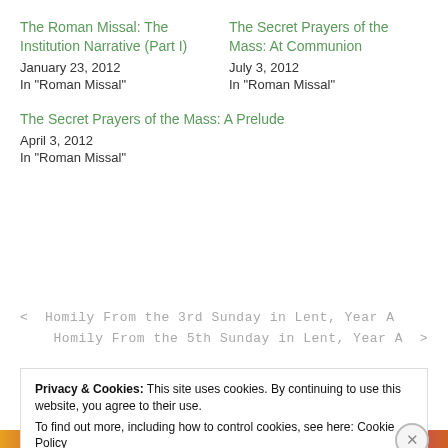The Roman Missal: The Institution Narrative (Part I)
January 23, 2012
In "Roman Missal"
The Secret Prayers of the Mass: At Communion
July 3, 2012
In "Roman Missal"
The Secret Prayers of the Mass: A Prelude
April 3, 2012
In "Roman Missal"
< Homily From the 3rd Sunday in Lent, Year A
Homily From the 5th Sunday in Lent, Year A >
Privacy & Cookies: This site uses cookies. By continuing to use this website, you agree to their use.
To find out more, including how to control cookies, see here: Cookie Policy
Close and accept